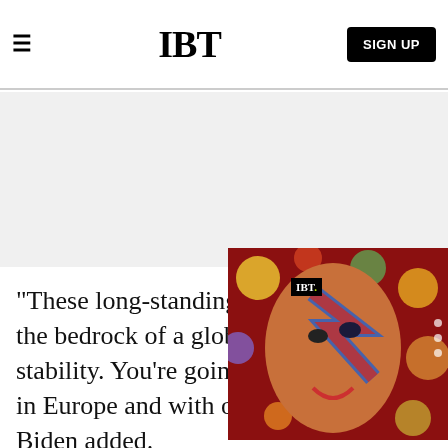IBT | SIGN UP
[Figure (other): Gray advertisement placeholder area]
"These long-standing basic... the bedrock of a global eco... stability. You're going to he... in Europe and with our alli... Biden added.
[Figure (screenshot): IBT video popup player showing colorful psychedelic image with a face, labeled 'NewSpiderGenus,Se...' with IBT logo and close button]